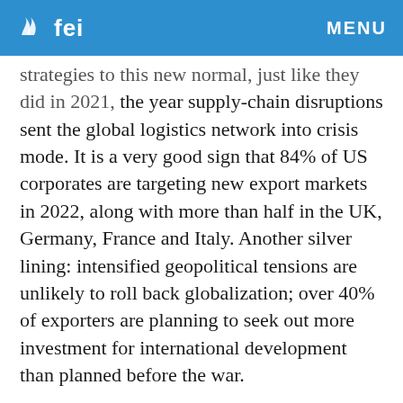fei  MENU
strategies to this new normal, just like they did in 2021, the year supply-chain disruptions sent the global logistics network into crisis mode. It is a very good sign that 84% of US corporates are targeting new export markets in 2022, along with more than half in the UK, Germany, France and Italy. Another silver lining: intensified geopolitical tensions are unlikely to roll back globalization; over 40% of exporters are planning to seek out more investment for international development than planned before the war.
At the same time, and despite their comfortable cash buffers, companies are flagging financing as a risk to watch in 2022. The record-high inflation rates we are seeing around the world, fueled by the fallout from the